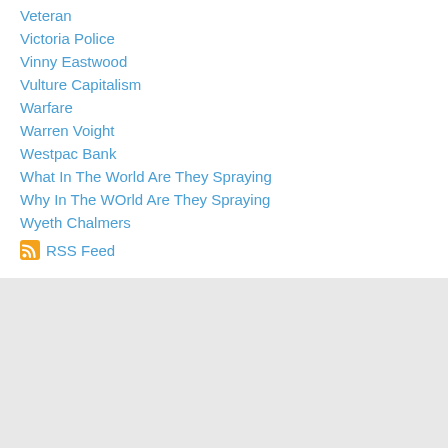Veteran
Victoria Police
Vinny Eastwood
Vulture Capitalism
Warfare
Warren Voight
Westpac Bank
What In The World Are They Spraying
Why In The WOrld Are They Spraying
Wyeth Chalmers
RSS Feed